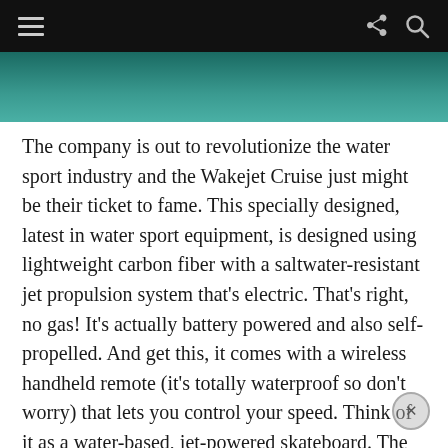Navigation bar with hamburger menu, share icon, and search icon
[Figure (photo): Partial aerial photo of turquoise water, cropped at top of page]
The company is out to revolutionize the water sport industry and the Wakejet Cruise just might be their ticket to fame. This specially designed, latest in water sport equipment, is designed using lightweight carbon fiber with a saltwater-resistant jet propulsion system that’s electric. That’s right, no gas! It’s actually battery powered and also self-propelled. And get this, it comes with a wireless handheld remote (it’s totally waterproof so don’t worry) that lets you control your speed. Think of it as a water-based, jet-powered skateboard. The battery should allow you about 30-60 minutes of “play-time” (depending on speed) which, personally, doesn’t quite seem enough. And what happens if I’m too far